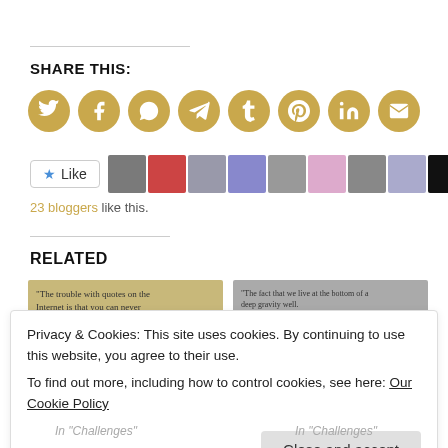SHARE THIS:
[Figure (illustration): Row of 8 golden circular social media share buttons: Twitter, Facebook, WhatsApp, Telegram, Tumblr, Pinterest, LinkedIn, Email]
[Figure (illustration): Like button with star icon and row of 11 blogger avatar thumbnails]
23 bloggers like this.
RELATED
[Figure (illustration): Two related article thumbnail images side by side. Left: quote about internet. Right: quote about gravity well.]
Privacy & Cookies: This site uses cookies. By continuing to use this website, you agree to their use.
To find out more, including how to control cookies, see here: Our Cookie Policy
Close and accept
In “Challenges”
In “Challenges”